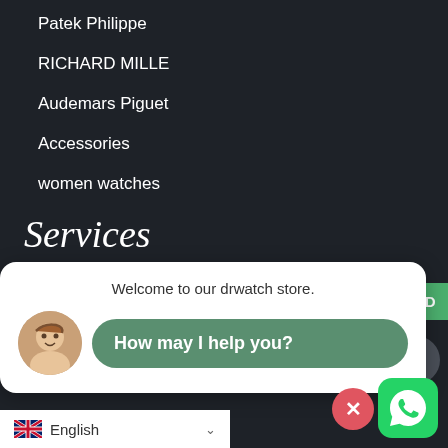Patek Philippe
RICHARD MILLE
Audemars Piguet
Accessories
women watches
Services
FAQs
Contact us
Track my order
Bitcoin payment
USD
+
Welcome to our drwatch store.
How may I help you?
English